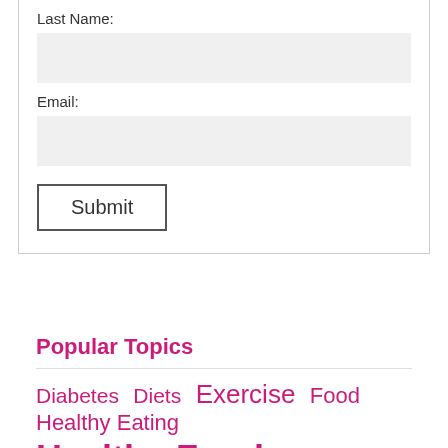Last Name:
Email:
Submit
[Figure (screenshot): Google Translate widget with 'Select Language' dropdown and Google G logo]
Popular Topics
Diabetes   Diets   Exercise   Food   Healthy Eating
Healthy Food   Healthy Lifestyle   HiBurn8   High